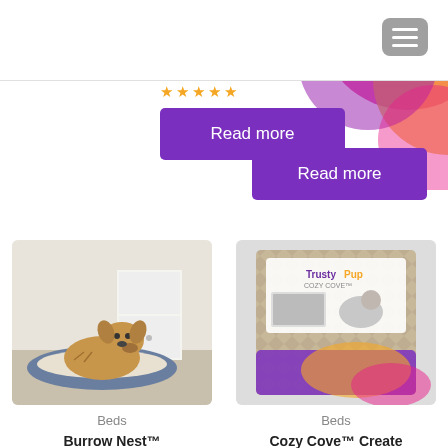[Figure (logo): TrustyPup logo with dog icon, purple 'Trusty' and orange 'Pup' text]
[Figure (illustration): Decorative colorful blobs (pink, orange, purple) in top right corner]
[Figure (other): Hamburger menu icon (gray rounded rectangle with three white lines)]
[Figure (other): Star rating row (5 orange stars)]
Read more
Read more
[Figure (photo): A fluffy golden dog sitting in a gray bolstered dog bed in a home setting]
Beds
Burrow Nest™ Bolstered Cuddler Pet
[Figure (photo): TrustyPup Cozy Cove product package — patterned brown crate cover with dog image and branding]
Beds
Cozy Cove™ Create Cover, Small, Brown